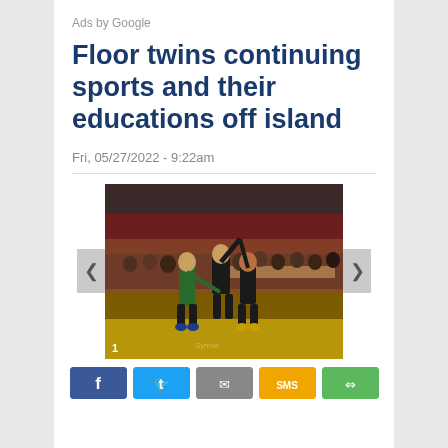Ads by Google
Floor twins continuing sports and their educations off island
Fri, 05/27/2022 - 9:22am
[Figure (photo): Wrestling match photo showing a referee raising a wrestler's hand in victory, with another wrestler and audience in background. Number 1 visible in bottom left corner.]
[Figure (other): Social share buttons row: Facebook (blue), Twitter (light blue), Email (gray), SMS (yellow/gold), Share (green)]